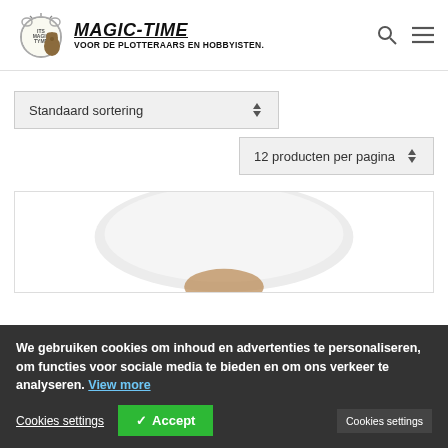[Figure (logo): Magic-Time logo with clock mascot and bear figure, text reads MAGIC-TIME VOOR DE PLOTTERAARS EN HOBBYISTEN.]
Standaard sortering
12 producten per pagina
[Figure (photo): White round product on white background, partially visible]
We gebruiken cookies om inhoud en advertenties te personaliseren, om functies voor sociale media te bieden en om ons verkeer te analyseren. View more
Cookies settings
✓ Accept
Cookies settings